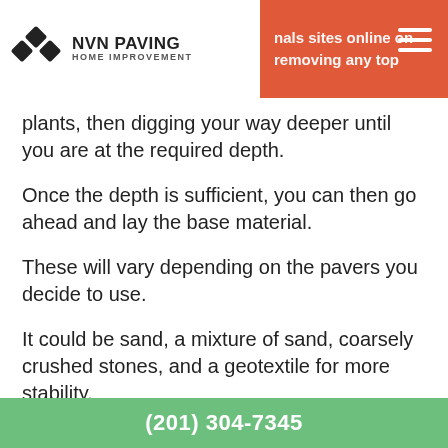NVN PAVING HOME IMPROVEMENT | nals sites online on removing any top
plants, then digging your way deeper until you are at the required depth.
Once the depth is sufficient, you can then go ahead and lay the base material.
These will vary depending on the pavers you decide to use.
It could be sand, a mixture of sand, coarsely crushed stones, and a geotextile for more stability.
When laying out the base, make sure you compact it properly until you have the right depth.
(201) 304-7345